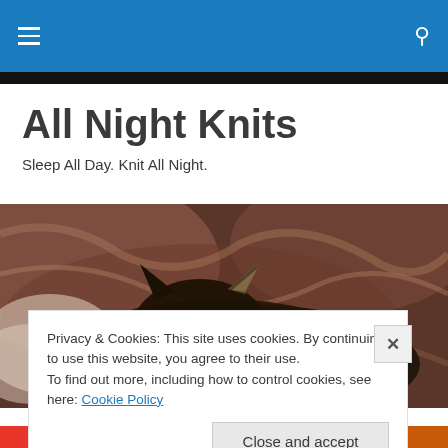All Night Knits — navigation bar with hamburger menu and search icon
All Night Knits
Sleep All Day. Knit All Night.
[Figure (photo): Close-up photo of a sleeping cat curled up on bedding, brown and dark tones]
Privacy & Cookies: This site uses cookies. By continuing to use this website, you agree to their use.
To find out more, including how to control cookies, see here: Cookie Policy
Close and accept